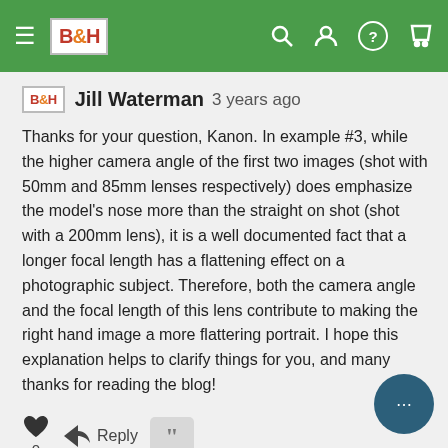B&H [navigation bar with logo, search, account, help, cart icons]
Jill Waterman  3 years ago
Thanks for your question, Kanon. In example #3, while the higher camera angle of the first two images (shot with 50mm and 85mm lenses respectively) does emphasize the model's nose more than the straight on shot (shot with a 200mm lens), it is a well documented fact that a longer focal length has a flattening effect on a photographic subject. Therefore, both the camera angle and the focal length of this lens contribute to making the right hand image a more flattering portrait. I hope this explanation helps to clarify things for you, and many thanks for reading the blog!